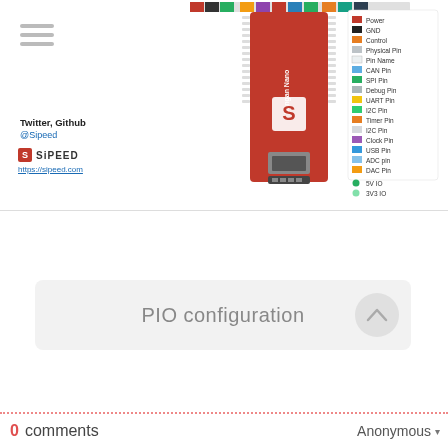[Figure (engineering-diagram): Sipeed Longan Nano microcontroller board pinout diagram showing the board with labeled pins on both sides and a color-coded legend for pin types (Power, GND, Control, Physical Pin, Pin Name, CAN Pin, SPI Pin, Debug Pin, UART Pin, I2C Pin, PWM Pin, I2C Pin, Clock Pin, USB Pin, ADC pin, DAC Pin, 5V IO, 3V3 IO)]
Twitter, Github
@Sipeed
[Figure (logo): Sipeed logo: red S box followed by SIPEED text, with URL https://sipeed.com below]
PIO configuration
0 comments
Anonymous